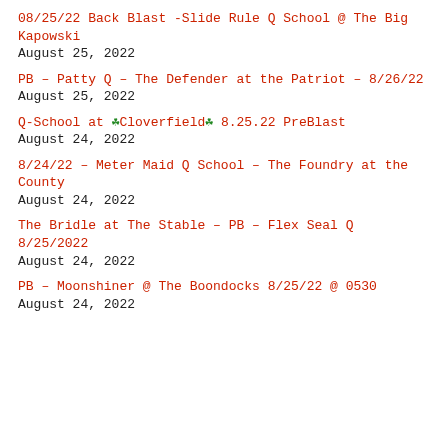08/25/22 Back Blast -Slide Rule Q School @ The Big Kapowski
August 25, 2022
PB – Patty Q – The Defender at the Patriot – 8/26/22
August 25, 2022
Q-School at 🍀Cloverfield🍀 8.25.22 PreBlast
August 24, 2022
8/24/22 – Meter Maid Q School – The Foundry at the County
August 24, 2022
The Bridle at The Stable – PB – Flex Seal Q 8/25/2022
August 24, 2022
PB – Moonshiner @ The Boondocks 8/25/22 @ 0530
August 24, 2022